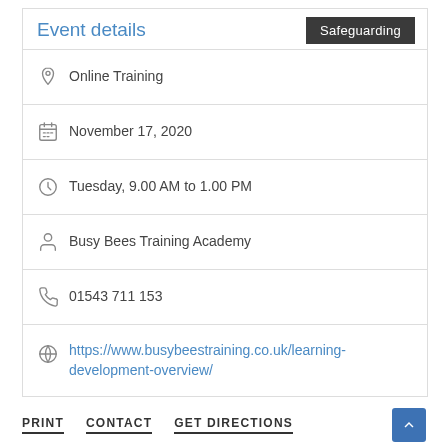Event details
Safeguarding
Online Training
November 17, 2020
Tuesday, 9.00 AM to 1.00 PM
Busy Bees Training Academy
01543 711 153
https://www.busybeestraining.co.uk/learning-development-overview/
PRINT   CONTACT   GET DIRECTIONS